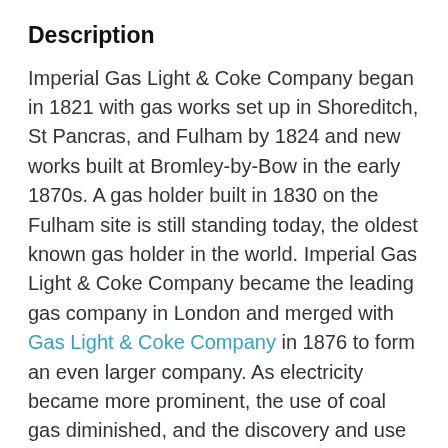Description
Imperial Gas Light & Coke Company began in 1821 with gas works set up in Shoreditch, St Pancras, and Fulham by 1824 and new works built at Bromley-by-Bow in the early 1870s. A gas holder built in 1830 on the Fulham site is still standing today, the oldest known gas holder in the world. Imperial Gas Light & Coke Company became the leading gas company in London and merged with Gas Light & Coke Company in 1876 to form an even larger company. As electricity became more prominent, the use of coal gas diminished, and the discovery and use of natural gas put the coal gas industry out of business (Pedroche 2013).
Gas works were used to produce and store flammable coal gas. Coal was mined in Britain and then shipped on a barge up rivers or on trains to the gas works. There it was burned to create the gas, which was then purified and put